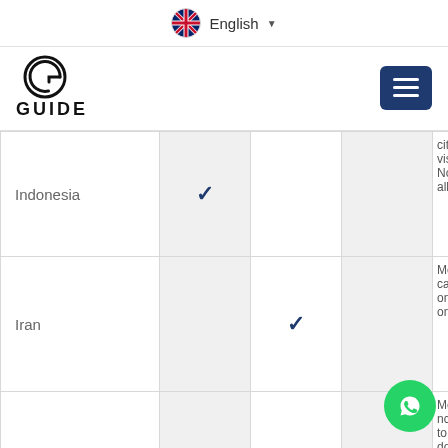English (language selector)
[Figure (logo): GUIDE logo with circular G icon and bold GUIDE text, plus hamburger menu button]
| Country | Col1 | Col2 | Col3 | Notes |
| --- | --- | --- | --- | --- |
| Indonesia | ✓ |  |  | cit vis No all |
| Iran |  | ✓ |  | Mo ca on on |
| Japan | ✓ |  |  | Mo nc to do |